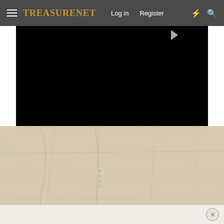TreasureNet — Log in  Register
[Figure (screenshot): Black video player embed area with a faint triangular play indicator in upper right corner]
[Figure (illustration): Parchment-colored antique map background with faint grid lines, road or survey lines, and dotted markings in a beige/tan color palette]